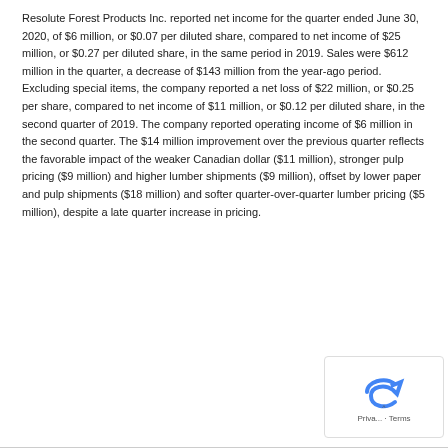Resolute Forest Products Inc. reported net income for the quarter ended June 30, 2020, of $6 million, or $0.07 per diluted share, compared to net income of $25 million, or $0.27 per diluted share, in the same period in 2019. Sales were $612 million in the quarter, a decrease of $143 million from the year-ago period. Excluding special items, the company reported a net loss of $22 million, or $0.25 per share, compared to net income of $11 million, or $0.12 per diluted share, in the second quarter of 2019. The company reported operating income of $6 million in the second quarter. The $14 million improvement over the previous quarter reflects the favorable impact of the weaker Canadian dollar ($11 million), stronger pulp pricing ($9 million) and higher lumber shipments ($9 million), offset by lower paper and pulp shipments ($18 million) and softer quarter-over-quarter lumber pricing ($5 million), despite a late quarter increase in pricing.